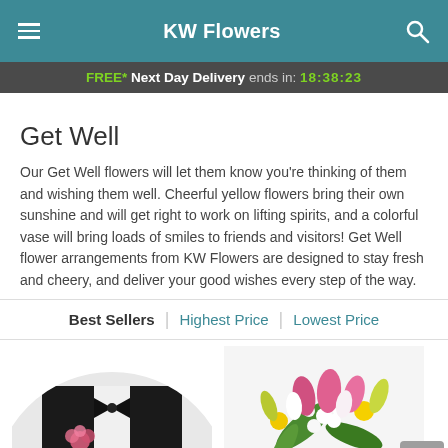KW Flowers
FREE* Next Day Delivery ends in: 18:38:23
Get Well
Our Get Well flowers will let them know you're thinking of them and wishing them well. Cheerful yellow flowers bring their own sunshine and will get right to work on lifting spirits, and a colorful vase will bring loads of smiles to friends and visitors! Get Well flower arrangements from KW Flowers are designed to stay fresh and cheery, and deliver your good wishes every step of the way.
Best Sellers | Highest Price | Lowest Price
[Figure (photo): Two product images at the bottom: left shows a person in formal wear with a pink flower corsage (circular crop), right shows a bouquet of pink tulips and yellow lilies with white flowers.]